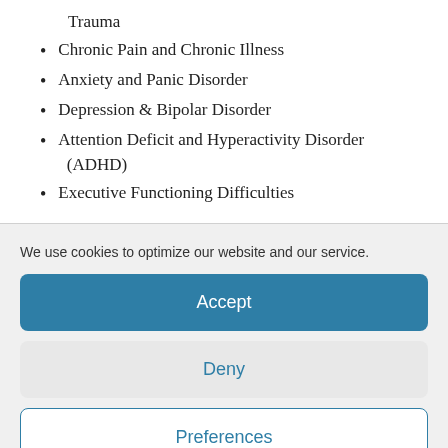Trauma
Chronic Pain and Chronic Illness
Anxiety and Panic Disorder
Depression & Bipolar Disorder
Attention Deficit and Hyperactivity Disorder (ADHD)
Executive Functioning Difficulties
We use cookies to optimize our website and our service.
Accept
Deny
Preferences